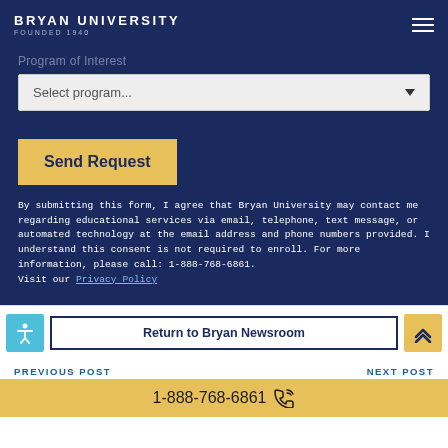BRYAN UNIVERSITY FOUNDED 1940
Program of Interest
Select program...
Send Request
By submitting this form, I agree that Bryan University may contact me regarding educational services via email, telephone, text message, or automated technology at the email address and phone numbers provided. I understand this consent is not required to enroll. For more information, please call: 1-888-768-6861. Visit our Privacy Policy
Return to Bryan Newsroom
PREVIOUS POST
NEXT POST
1-888-768-6861